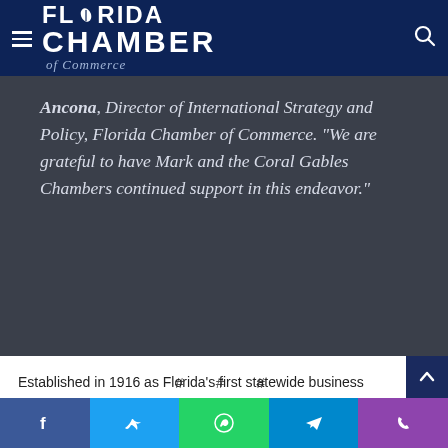Florida Chamber of Commerce
Ancona, Director of International Strategy and Policy, Florida Chamber of Commerce. “We are grateful to have Mark and the Coral Gables Chambers continued support in this endeavor.”
# # #
Established in 1916 as Florida’s first statewide business
Share buttons: Facebook, Twitter, WhatsApp, Telegram, Phone